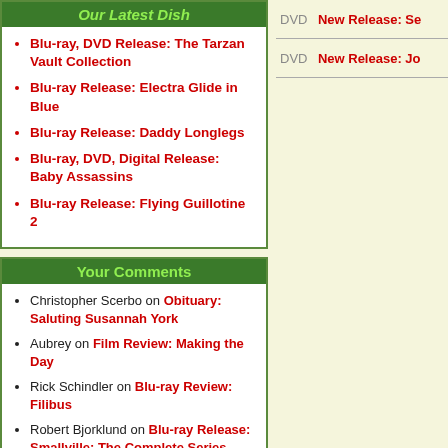Our Latest Dish
Blu-ray, DVD Release: The Tarzan Vault Collection
Blu-ray Release: Electra Glide in Blue
Blu-ray Release: Daddy Longlegs
Blu-ray, DVD, Digital Release: Baby Assassins
Blu-ray Release: Flying Guillotine 2
Your Comments
Christopher Scerbo on Obituary: Saluting Susannah York
Aubrey on Film Review: Making the Day
Rick Schindler on Blu-ray Review: Filibus
Robert Bjorklund on Blu-ray Release: Smallville: The Complete Series
irv slifkin on Blu-ray Review:
DVD   New Release: Se...
DVD   New Release: Jo...